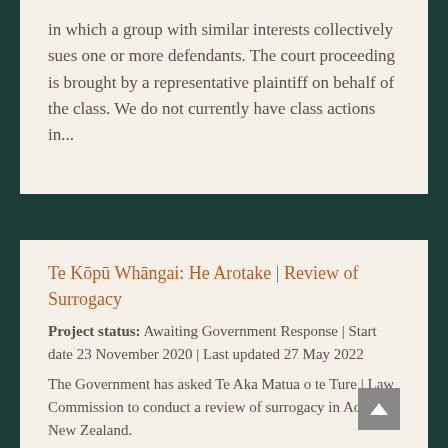in which a group with similar interests collectively sues one or more defendants. The court proceeding is brought by a representative plaintiff on behalf of the class. We do not currently have class actions in...
Te Kōpū Whāngai: He Arotake | Review of Surrogacy
Project status: Awaiting Government Response | Start date 23 November 2020 | Last updated 27 May 2022
The Government has asked Te Aka Matua o te Ture | Law Commission to conduct a review of surrogacy in Aotearoa New Zealand.